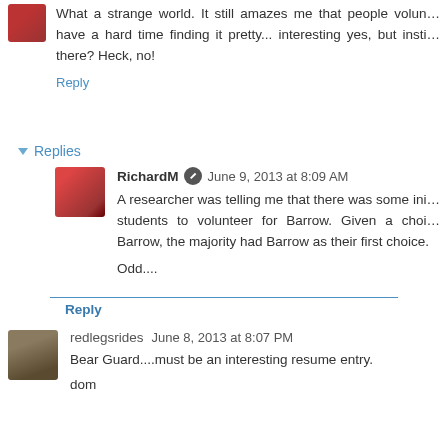What a strange world. It still amazes me that people volun... have a hard time finding it pretty... interesting yes, but insti... there? Heck, no!
Reply
Replies
RichardM  June 9, 2013 at 8:09 AM
A researcher was telling me that there was some ini... students to volunteer for Barrow. Given a choi... Barrow, the majority had Barrow as their first choice.
Odd....
Reply
redlegsrides  June 8, 2013 at 8:07 PM
Bear Guard....must be an interesting resume entry.
dom